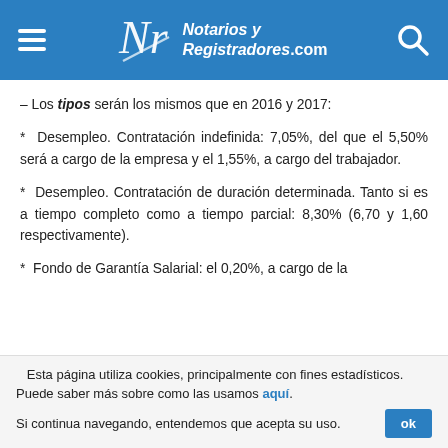Notarios y Registradores.com
– Los tipos serán los mismos que en 2016 y 2017:
* Desempleo. Contratación indefinida: 7,05%, del que el 5,50% será a cargo de la empresa y el 1,55%, a cargo del trabajador.
* Desempleo. Contratación de duración determinada. Tanto si es a tiempo completo como a tiempo parcial: 8,30% (6,70 y 1,60 respectivamente).
* Fondo de Garantía Salarial: el 0,20%, a cargo de la
Esta página utiliza cookies, principalmente con fines estadísticos. Puede saber más sobre como las usamos aquí. Si continua navegando, entendemos que acepta su uso.